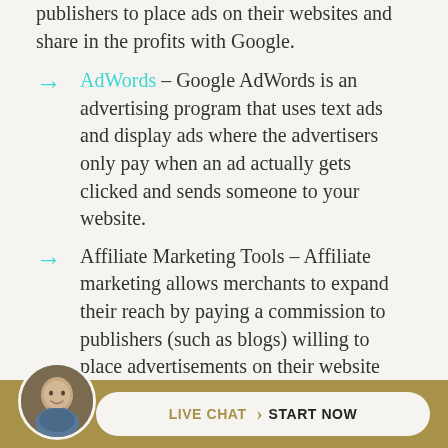publishers to place ads on their websites and share in the profits with Google.
AdWords – Google AdWords is an advertising program that uses text ads and display ads where the advertisers only pay when an ad actually gets clicked and sends someone to your website.
Affiliate Marketing Tools – Affiliate marketing allows merchants to expand their reach by paying a commission to publishers (such as blogs) willing to place advertisements on their website that link to a merchant. Get thousands of people linking (with nofollow links) to you and get great visibility that only
[Figure (photo): Circular avatar photo of a smiling man in front of a brick wall]
LIVE CHAT  >  START NOW